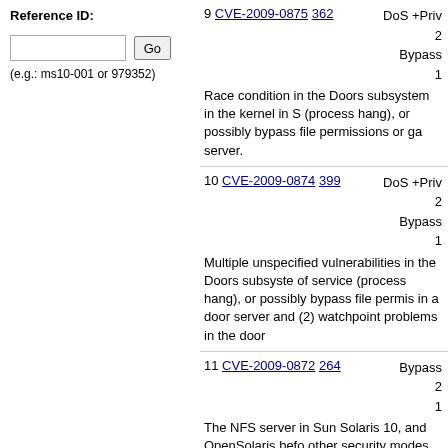Reference ID:
(e.g.: ms10-001 or 979352)
9 CVE-2009-0875 362 — DoS +Priv / Bypass — Race condition in the Doors subsystem in the kernel in S... (process hang), or possibly bypass file permissions or ga... server.
10 CVE-2009-0874 399 — DoS +Priv / Bypass — Multiple unspecified vulnerabilities in the Doors subsyste... of service (process hang), or possibly bypass file permis... in a door server and (2) watchpoint problems in the door...
11 CVE-2009-0872 264 — Bypass — The NFS server in Sun Solaris 10, and OpenSolaris befo... other security modes, which allows remote attackers to b... AUTH_NONE and AUTH_SYS security modes.
12 CVE-2009-0480 189 — DoS — The IP implementation in Sun Solaris 8 through 10, and ... local users to cause a denial of service (32-bit application...
13 CVE-2009-0319 — DoS +Priv — Unspecified vulnerability in the autofs module in the kern... (autofs mount outage) or possibly gain privileges via vect...
14 CVE-2009-0304 — DoS